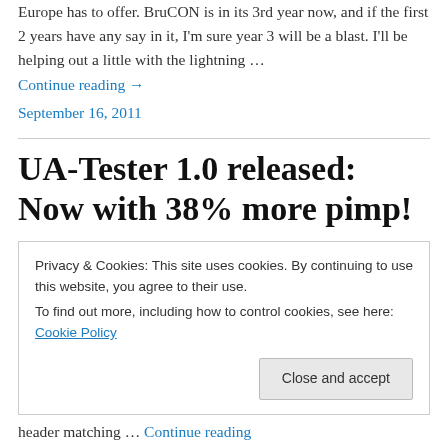Europe has to offer. BruCON is in its 3rd year now, and if the first 2 years have any say in it, I'm sure year 3 will be a blast. I'll be helping out a little with the lightning …
Continue reading →
September 16, 2011
UA-Tester 1.0 released: Now with 38% more pimp!
Privacy & Cookies: This site uses cookies. By continuing to use this website, you agree to their use.
To find out more, including how to control cookies, see here: Cookie Policy
Close and accept
header matching … Continue reading